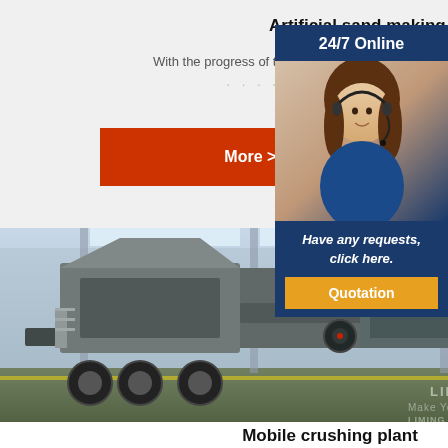Artificial sand making plant
With the progress of technology, SKD Industry has launched four generations ...
[Figure (other): Orange 'More >>' button linking to more content]
[Figure (other): 24/7 Online sidebar with customer service representative wearing headset, 'Have any requests, click here.' text and Quotation button]
[Figure (photo): Photo of a large mobile crushing machine (Liming Heavy Industry) on a truck chassis inside an industrial facility]
Mobile crushing plant